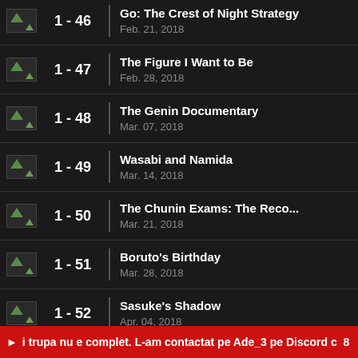1 - 46 | Go: The Crest of Night Strategy
Feb. 21, 2018
1 - 47 | The Figure I Want to Be
Feb. 28, 2018
1 - 48 | The Genin Documentary
Mar. 07, 2018
1 - 49 | Wasabi and Namida
Mar. 14, 2018
1 - 50 | The Chunin Exams: The Reco...
Mar. 21, 2018
1 - 51 | Boruto's Birthday
Mar. 28, 2018
1 - 52 | Sasuke's Shadow
Apr. 04, 2018
▶ i trupa nu e complet. L-am contactat pe Ade_3 pe Discord c  8